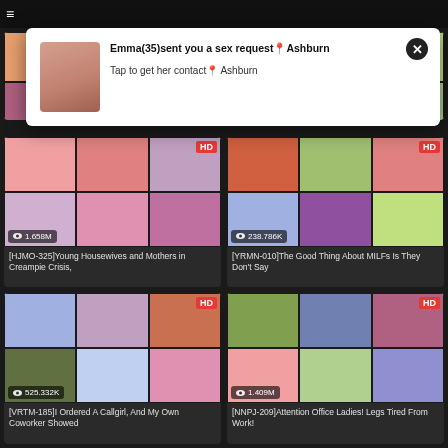[Figure (screenshot): Adult video streaming website showing a grid of video thumbnails with titles, view counts, and HD badges. A notification popup overlay is visible showing a social/dating ad.]
Emma(35)sent you a sex request📍Ashburn
Tap to get her contact📍 Ashburn
[HJMO-325]Young Housewives and Mothers in Creampie Crisis,
[YRMN-010]The Good Thing About MILFs Is They Don't Say
[VRTM-185]I Ordered A Callgirl, And My Own Coworker Showed
[NNPJ-209]Attention Office Ladies! Legs Tired From Work!